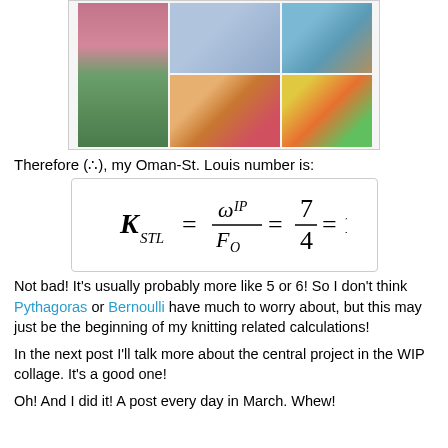[Figure (photo): A collage of knitting-related photographs: yarn, knitting needles, works-in-progress, colorful yarn balls, and knitted items.]
Therefore (∴), my Oman-St. Louis number is:
Not bad! It's usually probably more like 5 or 6! So I don't think Pythagoras or Bernoulli have much to worry about, but this may just be the beginning of my knitting related calculations!
In the next post I'll talk more about the central project in the WIP collage. It's a good one!
Oh! And I did it! A post every day in March. Whew!